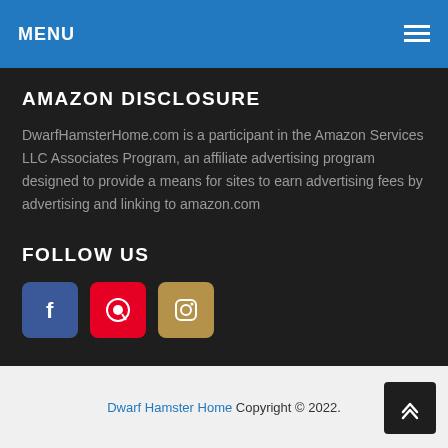MENU
AMAZON DISCLOSURE
DwarfHamsterHome.com is a participant in the Amazon Services LLC Associates Program, an affiliate advertising program designed to provide a means for sites to earn advertising fees by advertising and linking to amazon.com
FOLLOW US
[Figure (illustration): Three social media icons: Facebook (blue), Pinterest (red), Instagram (tan/gold)]
Dwarf Hamster Home Copyright © 2022.